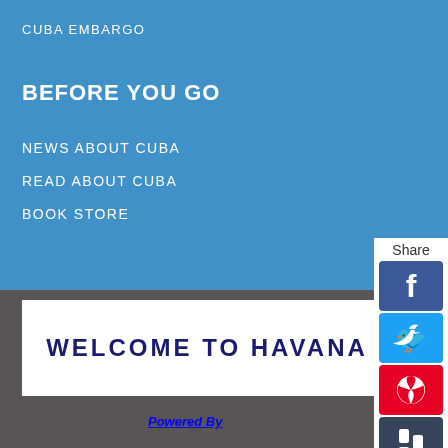CUBA EMBARGO
BEFORE YOU GO
NEWS ABOUT CUBA
READ ABOUT CUBA
BOOK STORE
[Figure (infographic): Share panel with social media icons: Facebook, Twitter, Pinterest, Tumblr, Reddit, WhatsApp]
[Figure (infographic): White card with 'WELCOME TO HAVANA' text in dark blue art deco style]
Powered By